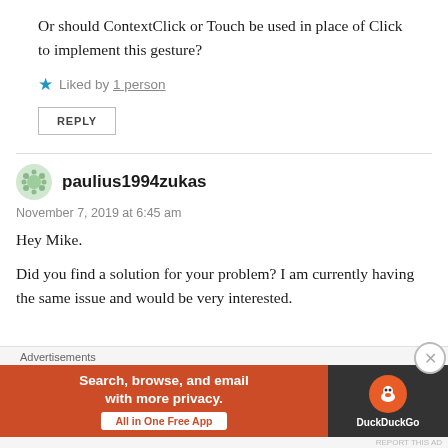Or should ContextClick or Touch be used in place of Click to implement this gesture?
Liked by 1 person
REPLY
paulius1994zukas
November 7, 2019 at 6:45 am
Hey Mike.
Did you find a solution for your problem? I am currently having the same issue and would be very interested.
[Figure (infographic): DuckDuckGo advertisement banner: 'Search, browse, and email with more privacy. All in One Free App' with DuckDuckGo logo on dark background.]